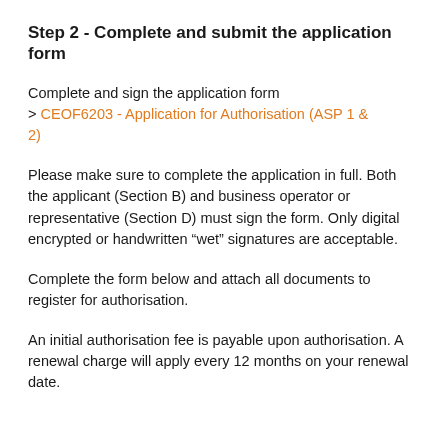Step 2 - Complete and submit the application form
Complete and sign the application form
> CEOF6203 - Application for Authorisation (ASP 1 & 2)
Please make sure to complete the application in full. Both the applicant (Section B) and business operator or representative (Section D) must sign the form. Only digital encrypted or handwritten “wet” signatures are acceptable.
Complete the form below and attach all documents to register for authorisation.
An initial authorisation fee is payable upon authorisation. A renewal charge will apply every 12 months on your renewal date.